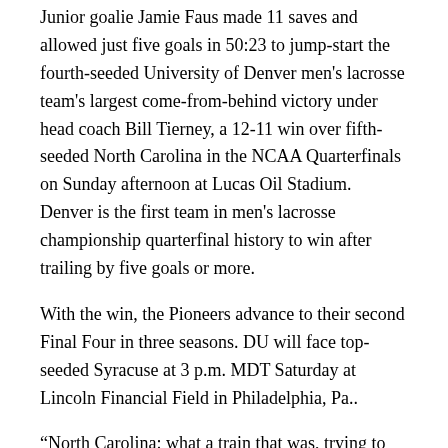Junior goalie Jamie Faus made 11 saves and allowed just five goals in 50:23 to jump-start the fourth-seeded University of Denver men's lacrosse team's largest come-from-behind victory under head coach Bill Tierney, a 12-11 win over fifth-seeded North Carolina in the NCAA Quarterfinals on Sunday afternoon at Lucas Oil Stadium. Denver is the first team in men's lacrosse championship quarterfinal history to win after trailing by five goals or more.
With the win, the Pioneers advance to their second Final Four in three seasons. DU will face top-seeded Syracuse at 3 p.m. MDT Saturday at Lincoln Financial Field in Philadelphia, Pa..
“North Carolina: what a train that was, trying to stop that coming downhill at us early,” Tierney said. “Mostly, I’m proud of these young men and teammates for persevering. You don’t get too many opportunities in life to fight through such adversity and come back ahead. I’m just proud for everybody at the University of Denver and everybody in our organization.”
Fans interested in watching the game between the Pioneers and the Syracuse Orange can view the game at four locations surrounding the DU campus: